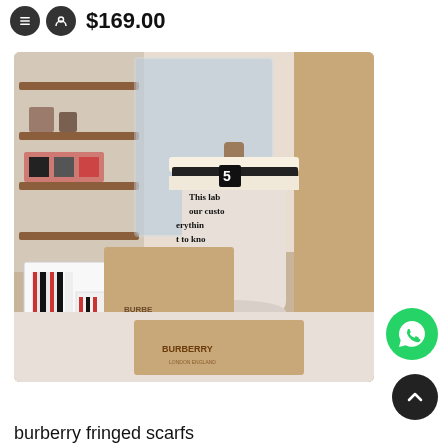$169.00
[Figure (photo): A Burberry fringed scarf draped on a mannequin torso, displayed in a store setting. A gift box with Burberry stripe pattern and a Burberry branded box are visible in the foreground.]
burberry fringed scarfs